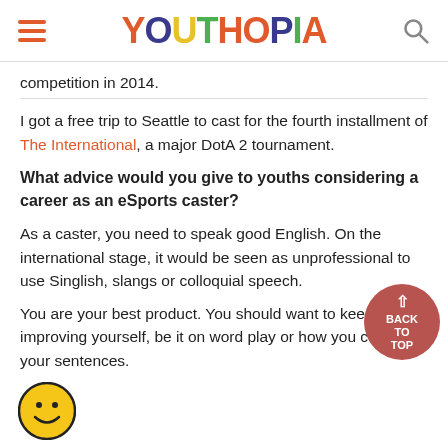YOUTHOPIA
competition in 2014.
I got a free trip to Seattle to cast for the fourth installment of The International, a major DotA 2 tournament.
What advice would you give to youths considering a career as an eSports caster?
As a caster, you need to speak good English. On the international stage, it would be seen as unprofessional to use Singlish, slangs or colloquial speech.
You are your best product. You should want to keep improving yourself, be it on word play or how you construct your sentences.